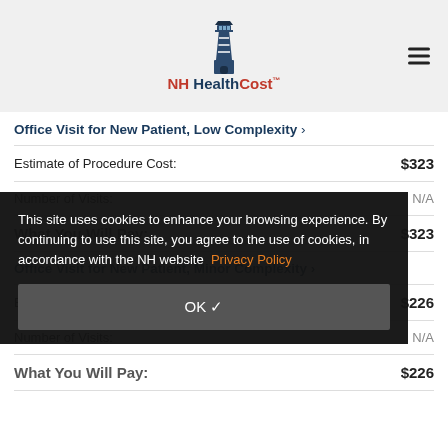NH HealthCost
Office Visit for New Patient, Low Complexity >
|  |  |
| --- | --- |
| Estimate of Procedure Cost: | $323 |
| Number of Visits: | N/A |
| What You Will Pay: | $323 |
Office Visit for New Patient, Minor Complexity >
|  |  |
| --- | --- |
| Estimate of Procedure Cost: | $226 |
| Number of Visits: | N/A |
| What You Will Pay: | $226 |
This site uses cookies to enhance your browsing experience. By continuing to use this site, you agree to the use of cookies, in accordance with the NH website Privacy Policy